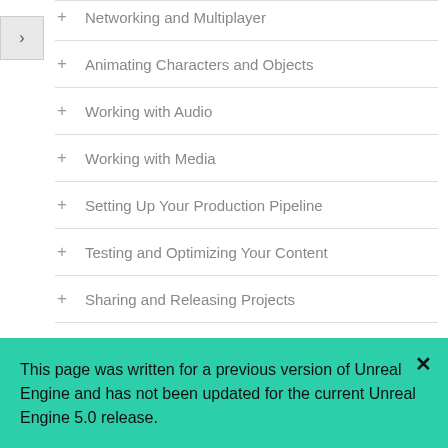+ Networking and Multiplayer
+ Animating Characters and Objects
+ Working with Audio
+ Working with Media
+ Setting Up Your Production Pipeline
+ Testing and Optimizing Your Content
+ Sharing and Releasing Projects
− Samples and Tutorials
Content Examples
This page was written for a previous version of Unreal Engine and has not been updated for the current Unreal Engine 5.0 release.